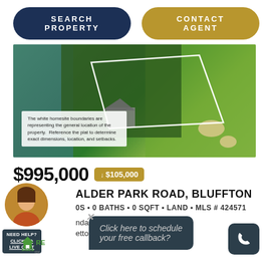SEARCH PROPERTY
CONTACT AGENT
[Figure (photo): Aerial view of a property with white homesite boundary lines overlaid on wooded/golf course land near water]
The white homesite boundaries are representing the general location of the property. Reference the plat to determine exact dimensions, location, and setbacks.
$995,000  ↓ $105,000
ALDER PARK ROAD, BLUFFTON
0S • 0 BATHS • 0 SQFT • LAND • MLS # 424571
nda Cutrer –
etto Bluff Real Estate Co
[Figure (logo): LREsides logo with house icon]
Click here to schedule your free callback?